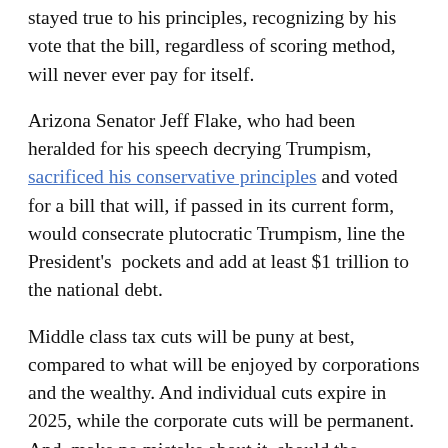stayed true to his principles, recognizing by his vote that the bill, regardless of scoring method, will never ever pay for itself.
Arizona Senator Jeff Flake, who had been heralded for his speech decrying Trumpism, sacrificed his conservative principles and voted for a bill that will, if passed in its current form, would consecrate plutocratic Trumpism, line the President's pockets and add at least $1 trillion to the national debt.
Middle class tax cuts will be puny at best, compared to what will be enjoyed by corporations and the wealthy. And individual cuts expire in 2025, while the corporate cuts will be permanent. And, make no mistake about it, should the Republicans retain control, they will move in